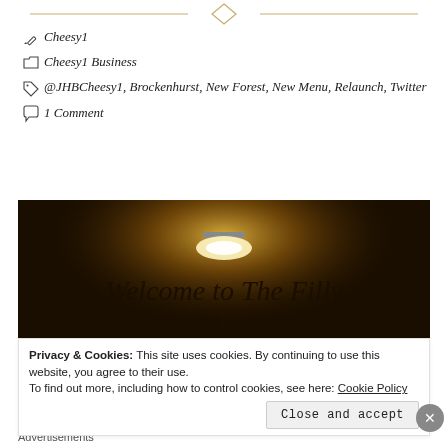[Figure (other): Decorative gold diamond divider line at top of page]
Cheesy1
Cheesy1 Business
@JHBCheesy1, Brockenhurst, New Forest, New Menu, Relaunch, Twitter
1 Comment
[Figure (photo): Dark warmly lit sign reading 'Welcome to The Filly BAR & RESTAURANT GARDEN ROOM' with a lamp above it]
Privacy & Cookies: This site uses cookies. By continuing to use this website, you agree to their use.
To find out more, including how to control cookies, see here: Cookie Policy
Close and accept
Advertisements